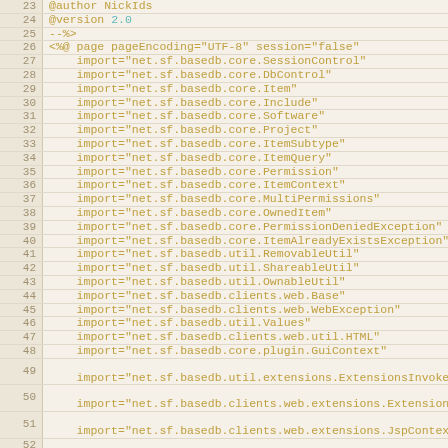[Figure (screenshot): Code editor screenshot showing JSP page directive with multiple import statements, lines 23-52, displaying Java package imports for net.sf.basedb library]